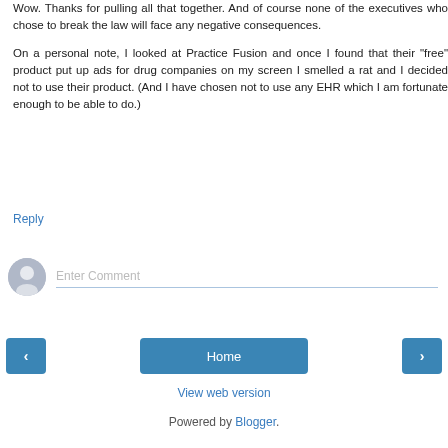Wow. Thanks for pulling all that together. And of course none of the executives who chose to break the law will face any negative consequences.
On a personal note, I looked at Practice Fusion and once I found that their "free" product put up ads for drug companies on my screen I smelled a rat and I decided not to use their product. (And I have chosen not to use any EHR which I am fortunate enough to be able to do.)
Reply
[Figure (other): Comment input field with user avatar icon and placeholder text 'Enter Comment']
[Figure (other): Navigation bar with left arrow button, Home button, and right arrow button]
View web version
Powered by Blogger.